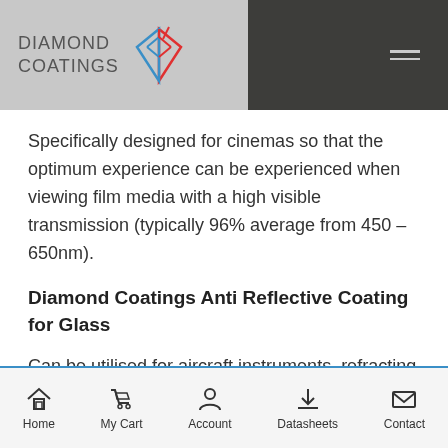DIAMOND COATINGS
Specifically designed for cinemas so that the optimum experience can be experienced when viewing film media with a high visible transmission (typically 96% average from 450 – 650nm).
Diamond Coatings Anti Reflective Coating for Glass
Can be utilised for aircraft instruments, refracting telescopes, LCD TVs as well as consumer devices such as binoculars and cameras.
Home  My Cart  Account  Datasheets  Contact